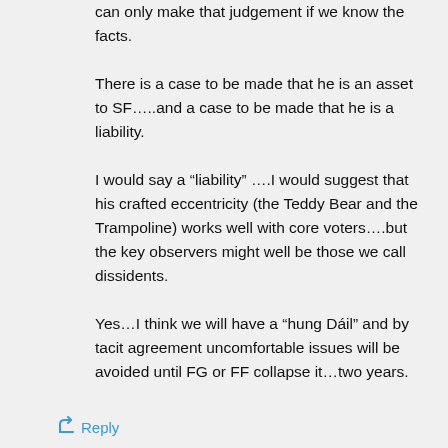can only make that judgement if we know the facts. There is a case to be made that he is an asset to SF…..and a case to be made that he is a liability. I would say a “liability” ….I would suggest that his crafted eccentricity (the Teddy Bear and the Trampoline) works well with core voters….but the key observers might well be those we call dissidents. Yes…I think we will have a “hung Dáil” and by tacit agreement uncomfortable issues will be avoided until FG or FF collapse it…two years.
↳ Reply